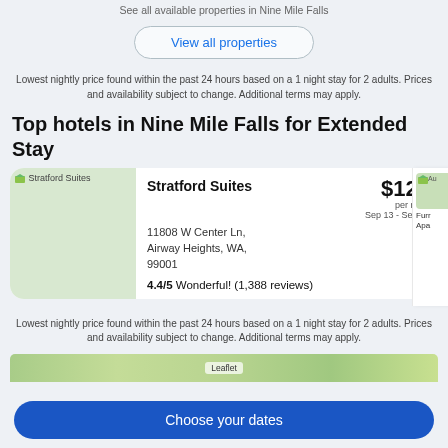See all available properties in Nine Mile Falls
View all properties
Lowest nightly price found within the past 24 hours based on a 1 night stay for 2 adults. Prices and availability subject to change. Additional terms may apply.
Top hotels in Nine Mile Falls for Extended Stay
[Figure (screenshot): Hotel listing card for Stratford Suites showing hotel image placeholder, name, address, price per night ($129), dates (Sep 13 - Sep 14), and rating (4.4/5 Wonderful! 1,388 reviews). A partial second card is visible on the right.]
Lowest nightly price found within the past 24 hours based on a 1 night stay for 2 adults. Prices and availability subject to change. Additional terms may apply.
[Figure (map): Partial map strip visible at the bottom]
Choose your dates